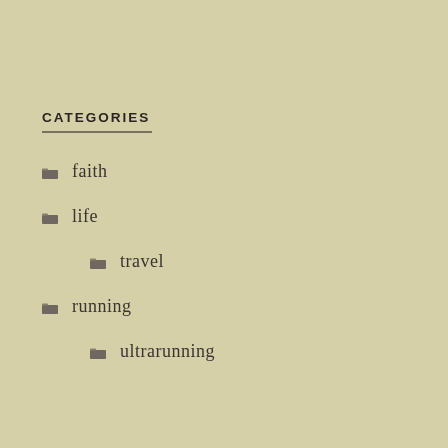CATEGORIES
faith
life
travel
running
ultrarunning